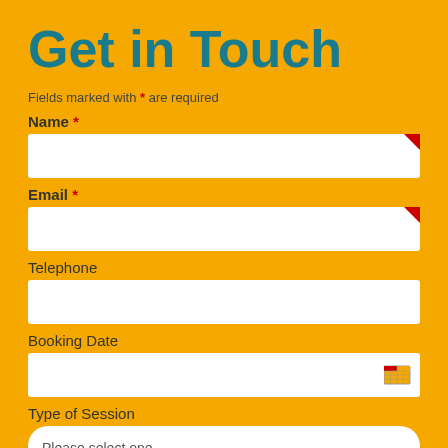Get in Touch
Fields marked with * are required
Name *
Email *
Telephone
Booking Date
Type of Session
Please select one
Message